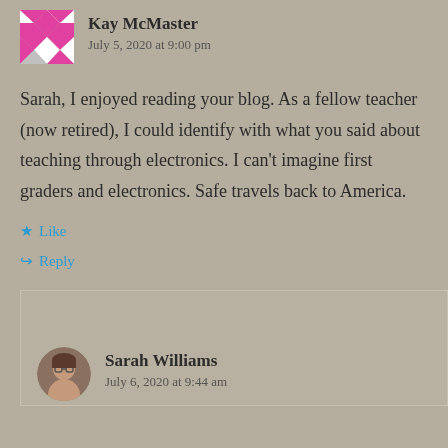[Figure (illustration): Pink and white checkered/diamond pattern avatar for Kay McMaster]
Kay McMaster
July 5, 2020 at 9:00 pm
Sarah, I enjoyed reading your blog. As a fellow teacher (now retired), I could identify with what you said about teaching through electronics. I can't imagine first graders and electronics. Safe travels back to America.
Like
Reply
[Figure (photo): Circular profile photo of Sarah Williams, a woman with glasses]
Sarah Williams
July 6, 2020 at 9:44 am